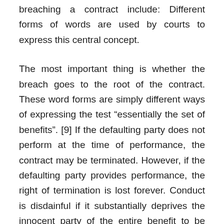breaching a contract include: Different forms of words are used by courts to express this central concept.
The most important thing is whether the breach goes to the root of the contract. These word forms are simply different ways of expressing the test “essentially the set of benefits”. [9] If the defaulting party does not perform at the time of performance, the contract may be terminated. However, if the defaulting party provides performance, the right of termination is lost forever. Conduct is disdainful if it substantially deprives the innocent party of the entire benefit to be granted in return for the performance of its future obligations under the contract. For employees, such a violation gives them the right to demand constructive dismissal and to appeal to a labour court. Analyzing